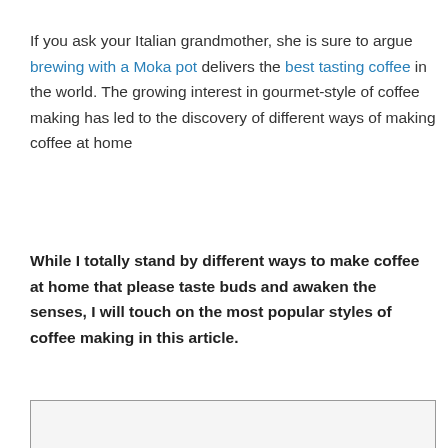If you ask your Italian grandmother, she is sure to argue brewing with a Moka pot delivers the best tasting coffee in the world. The growing interest in gourmet-style of coffee making has led to the discovery of different ways of making coffee at home
While I totally stand by different ways to make coffee at home that please taste buds and awaken the senses, I will touch on the most popular styles of coffee making in this article.
[Figure (other): A partially visible box with light gray background, likely the beginning of a table of contents or sidebar section.]